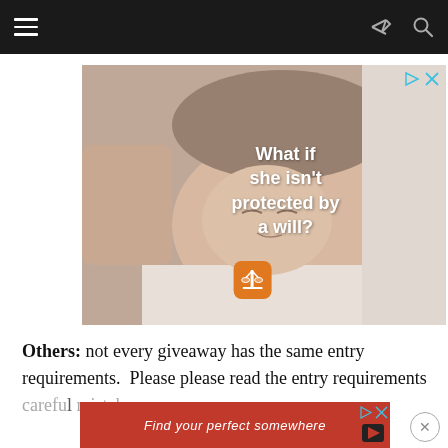Navigation bar with hamburger menu, share, and search icons
[Figure (photo): Advertisement showing a sleeping baby with text 'What if she isn't protected by a will?' and a scales of justice icon on an orange background]
Others: not every giveaway has the same entry requirements.  Please please read the entry requirements carefully... mistakes...
[Figure (photo): Bottom banner advertisement: 'Find your perfect somewhere' with a red background]